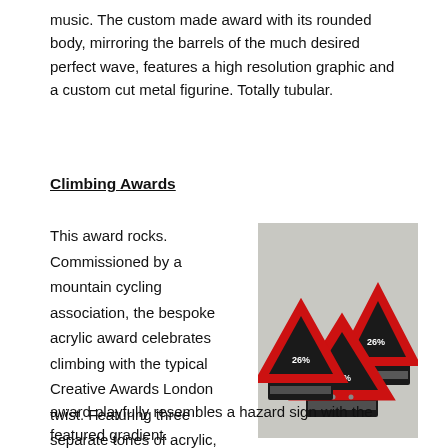music. The custom made award with its rounded body, mirroring the barrels of the much desired perfect wave, features a high resolution graphic and a custom cut metal figurine. Totally tubular.
Climbing Awards
This award rocks. Commissioned by a mountain cycling association, the bespoke acrylic award celebrates climbing with the typical Creative Awards London twist. Featuring three separate tones of acrylic, the body of the award playfully resembles a hazard sign with the featured gradient.
[Figure (photo): Three acrylic awards shaped like red-bordered triangle hazard signs mounted on black bases, each featuring percentage gradient numbers (25%, 26%, 29%).]